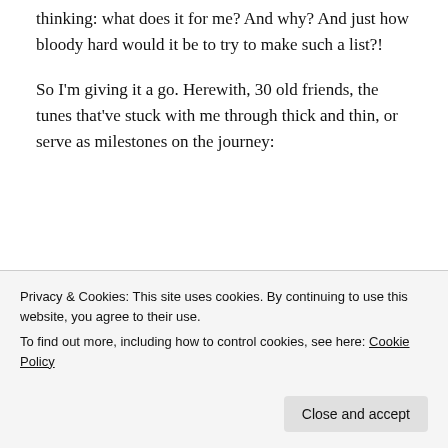thinking: what does it for me? And why? And just how bloody hard would it be to try to make such a list?!
So I'm giving it a go. Herewith, 30 old friends, the tunes that've stuck with me through thick and thin, or serve as milestones on the journey:
[Figure (other): Dark navy background banner image with white text reading 'Opinions.' on the first line and 'We all have them!' in bold on the second line. A pink/rose rectangular button shape at the bottom left and a grey circle at the bottom right.]
Privacy & Cookies: This site uses cookies. By continuing to use this website, you agree to their use.
To find out more, including how to control cookies, see here: Cookie Policy